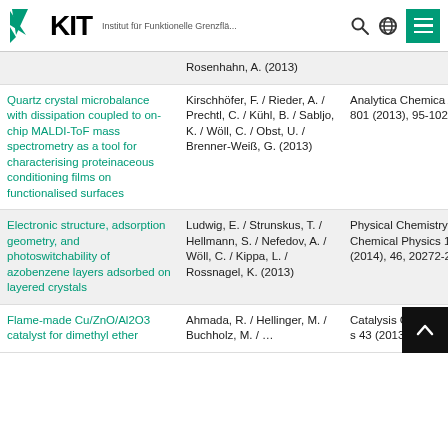KIT — Institut für Funktionelle Grenzflä...
| Title | Authors | Journal |
| --- | --- | --- |
|  | Rosenhahn, A. (2013) |  |
| Quartz crystal microbalance with dissipation coupled to on-chip MALDI-ToF mass spectrometry as a tool for characterising proteinaceous conditioning films on functionalised surfaces | Kirschhöfer, F. / Rieder, A. / Prechtl, C. / Kühl, B. / Sabljo, K. / Wöll, C. / Obst, U. / Brenner-Weiß, G. (2013) | Analytica Chemica Acta 801 (2013), 95-102 |
| Electronic structure, adsorption geometry, and photoswitchability of azobenzene layers adsorbed on layered crystals | Ludwig, E. / Strunskus, T. / Hellmann, S. / Nefedov, A. / Wöll, C. / Kippa, L. / Rossnagel, K. (2013) | Physical Chemistry Chemical Physics 15 (2014), 46, 20272-20280 |
| Flame-made Cu/ZnO/Al2O3 catalyst for dimethyl ether... | Ahmada, R. / Hellinger, M. / Buchholz, M. /... | Catalysis Communication s 43 (2013), 52... |